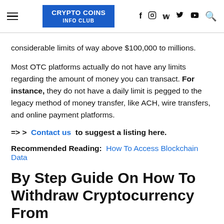CRYPTO COINS INFO CLUB
considerable limits of way above $100,000 to millions.
Most OTC platforms actually do not have any limits regarding the amount of money you can transact. For instance, they do not have a daily limit is pegged to the legacy method of money transfer, like ACH, wire transfers, and online payment platforms.
=> >  Contact us  to suggest a listing here.
Recommended Reading:  How To Access Blockchain Data
By Step Guide On How To Withdraw Cryptocurrency From Bittrex